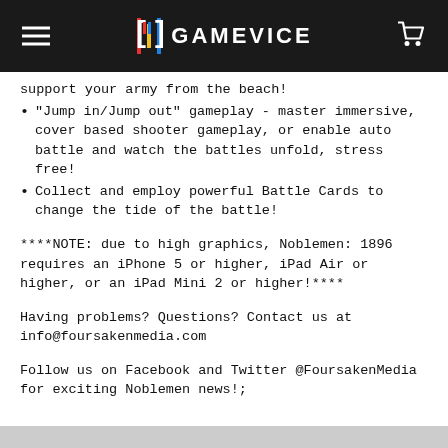GAMEVICE
support your army from the beach!
"Jump in/Jump out" gameplay - master immersive, cover based shooter gameplay, or enable auto battle and watch the battles unfold, stress free!
Collect and employ powerful Battle Cards to change the tide of the battle!
****NOTE: due to high graphics, Noblemen: 1896 requires an iPhone 5 or higher, iPad Air or higher, or an iPad Mini 2 or higher!****
Having problems? Questions? Contact us at info@foursakenmedia.com
Follow us on Facebook and Twitter @FoursakenMedia for exciting Noblemen news!;